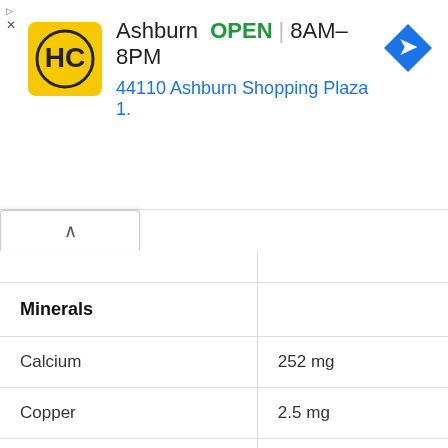[Figure (screenshot): Ad banner for Heidl's Corner store in Ashburn showing logo, OPEN status, hours 8AM-8PM, address 44110 Ashburn Shopping Plaza 1., and navigation icon]
|  |  |
| --- | --- |
| Minerals |  |
| Calcium | 252 mg |
| Copper | 2.5 mg |
| Iron | 14 mg |
| Magnesium | 163 mg |
| Manganese | 1.5 mg |
| Phosphorus | 110 mg |